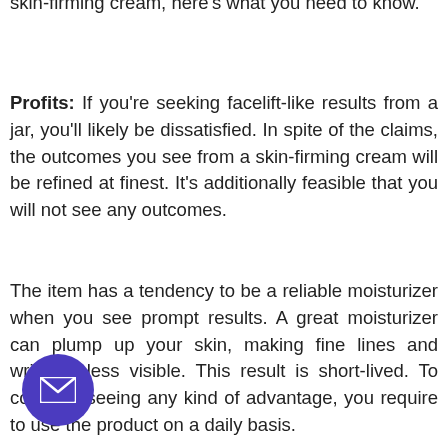skin-firming cream, here's what you need to know.
Profits: If you're seeking facelift-like results from a jar, you'll likely be dissatisfied. In spite of the claims, the outcomes you see from a skin-firming cream will be refined at finest. It's additionally feasible that you will not see any outcomes.
The item has a tendency to be a reliable moisturizer when you see prompt results. A great moisturizer can plump up your skin, making fine lines and wrinkles less visible. This result is short-lived. To continue seeing any kind of advantage, you require to use the product on a daily basis.
or the case that a cream or cream can lift sagging skin, skin specialists say that's not